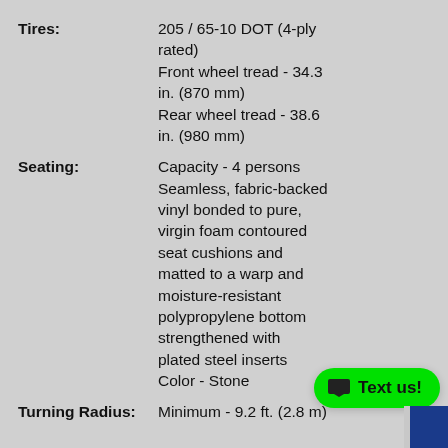| Specification | Value |
| --- | --- |
| Tires: | 205 / 65-10 DOT (4-ply rated)
Front wheel tread - 34.3 in. (870 mm)
Rear wheel tread - 38.6 in. (980 mm) |
| Seating: | Capacity - 4 persons
Seamless, fabric-backed vinyl bonded to pure, virgin foam contoured seat cushions and matted to a warp and moisture-resistant polypropylene bottom strengthened with plated steel inserts
Color - Stone |
| Turning Radius: | Minimum - 9.2 ft. (2.8 m) |